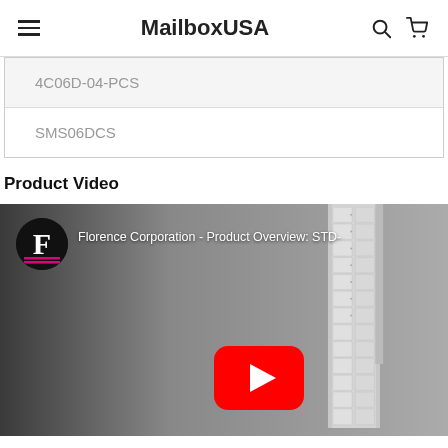MailboxUSA
| 4C06D-04-PCS |
| SMS06DCS |
Product Video
[Figure (screenshot): YouTube video thumbnail for Florence Corporation - Product Overview: STD- showing a tall multi-unit mailbox/locker cabinet with a YouTube play button overlay and Florence Corporation logo]